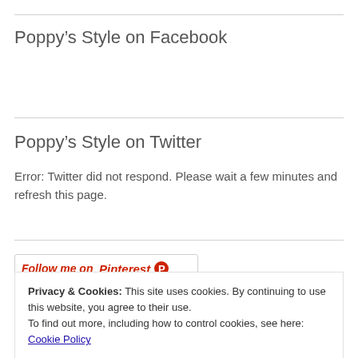Poppy’s Style on Facebook
Poppy’s Style on Twitter
Error: Twitter did not respond. Please wait a few minutes and refresh this page.
[Figure (other): Follow me on Pinterest button with red italic text and Pinterest logo]
Privacy & Cookies: This site uses cookies. By continuing to use this website, you agree to their use.
To find out more, including how to control cookies, see here: Cookie Policy
Close and accept